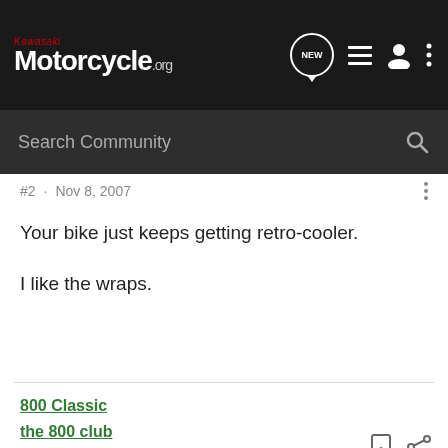Kawasaki Motorcycle.org — NEW, list, user, menu icons; Search Community
#2 · Nov 8, 2007
Your bike just keeps getting retro-cooler.

I like the wraps.
800 Classic
the 800 club
skewterdewd · frequently disturbs class
Joined Sep 11, 2007 · 2,220 Posts